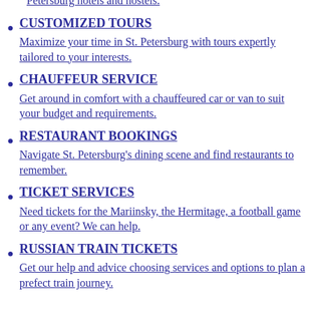Petersburg hotels and hostels.
CUSTOMIZED TOURS
Maximize your time in St. Petersburg with tours expertly tailored to your interests.
CHAUFFEUR SERVICE
Get around in comfort with a chauffeured car or van to suit your budget and requirements.
RESTAURANT BOOKINGS
Navigate St. Petersburg's dining scene and find restaurants to remember.
TICKET SERVICES
Need tickets for the Mariinsky, the Hermitage, a football game or any event? We can help.
RUSSIAN TRAIN TICKETS
Get our help and advice choosing services and options to plan a prefect train journey.